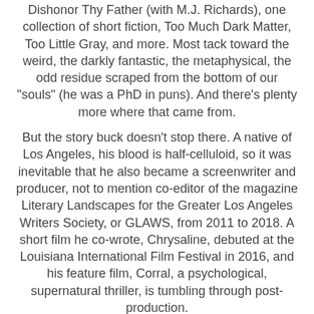Dishonor Thy Father (with M.J. Richards), one collection of short fiction, Too Much Dark Matter, Too Little Gray, and more. Most tack toward the weird, the darkly fantastic, the metaphysical, the odd residue scraped from the bottom of our "souls" (he was a PhD in puns). And there's plenty more where that came from.
But the story buck doesn't stop there. A native of Los Angeles, his blood is half-celluloid, so it was inevitable that he also became a screenwriter and producer, not to mention co-editor of the magazine Literary Landscapes for the Greater Los Angeles Writers Society, or GLAWS, from 2011 to 2018. A short film he co-wrote, Chrysaline, debuted at the Louisiana International Film Festival in 2016, and his feature film, Corral, a psychological, supernatural thriller, is tumbling through post-production.
Search for
1.  WHOLESALE ELECTRONICS
2.  SOCIAL NETWORKING